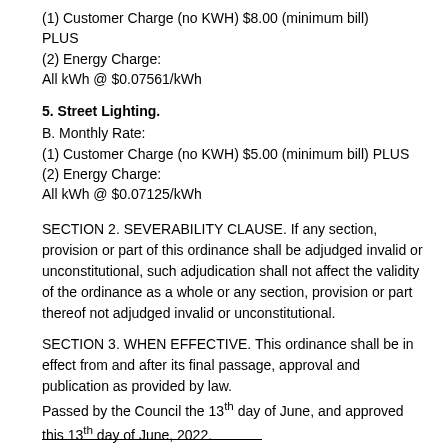(1) Customer Charge (no KWH) $8.00 (minimum bill)
PLUS
(2) Energy Charge:
All kWh @ $0.07561/kWh
5. Street Lighting.
B. Monthly Rate:
(1) Customer Charge (no KWH) $5.00 (minimum bill) PLUS
(2) Energy Charge:
All kWh @ $0.07125/kWh
SECTION 2. SEVERABILITY CLAUSE. If any section, provision or part of this ordinance shall be adjudged invalid or unconstitutional, such adjudication shall not affect the validity of the ordinance as a whole or any section, provision or part thereof not adjudged invalid or unconstitutional.
SECTION 3. WHEN EFFECTIVE. This ordinance shall be in effect from and after its final passage, approval and publication as provided by law.
Passed by the Council the 13th day of June, and approved this 13th day of June, 2022.